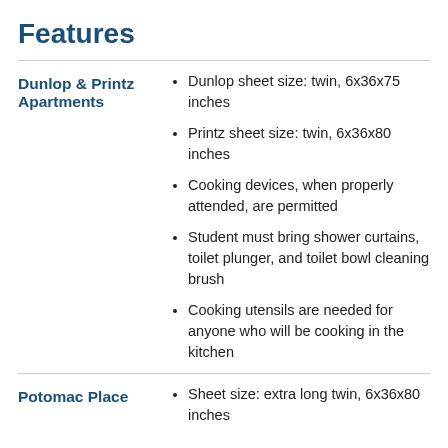Features
Dunlop & Printz Apartments
Dunlop sheet size: twin, 6x36x75 inches
Printz sheet size: twin, 6x36x80 inches
Cooking devices, when properly attended, are permitted
Student must bring shower curtains, toilet plunger, and toilet bowl cleaning brush
Cooking utensils are needed for anyone who will be cooking in the kitchen
Potomac Place
Sheet size: extra long twin, 6x36x80 inches